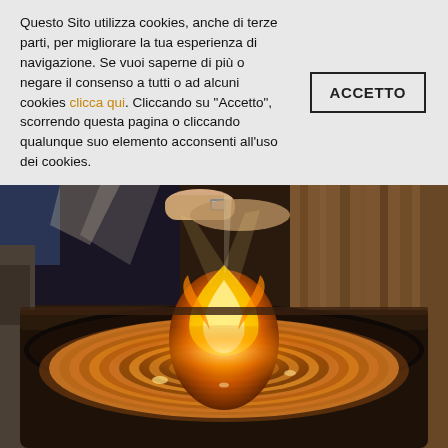Questo Sito utilizza cookies, anche di terze parti, per migliorare la tua esperienza di navigazione. Se vuoi saperne di più o negare il consenso a tutti o ad alcuni cookies clicca qui. Cliccando su "Accetto", scorrendo questa pagina o cliccando qualunque suo elemento acconsenti all'uso dei cookies.
ACCETTO
[Figure (photo): A glassblower working with molten glass on a furnace. The glass is glowing orange/amber with visible flames. The piece is disc-shaped with concentric rings of amber and dark glass, with a flame burning in the center. The scene is in a workshop/foundry setting.]